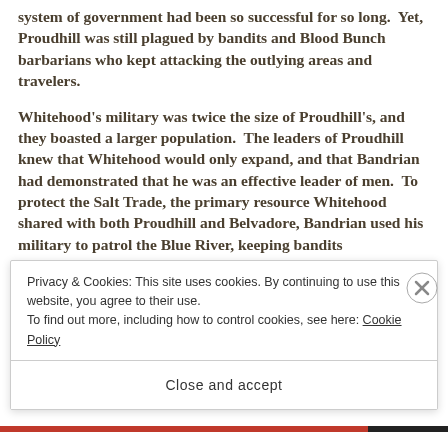system of government had been so successful for so long.  Yet, Proudhill was still plagued by bandits and Blood Bunch barbarians who kept attacking the outlying areas and travelers.
Whitehood's military was twice the size of Proudhill's, and they boasted a larger population.  The leaders of Proudhill knew that Whitehood would only expand, and that Bandrian had demonstrated that he was an effective leader of men.  To protect the Salt Trade, the primary resource Whitehood shared with both Proudhill and Belvadore, Bandrian used his military to patrol the Blue River, keeping bandits
Privacy & Cookies: This site uses cookies. By continuing to use this website, you agree to their use.
To find out more, including how to control cookies, see here: Cookie Policy
Close and accept